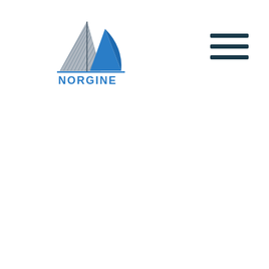[Figure (logo): Norgine company logo featuring a sailboat/sail graphic in blue and grey with the word NORGINE in blue text below]
[Figure (other): Hamburger menu icon with three horizontal dark navy lines]